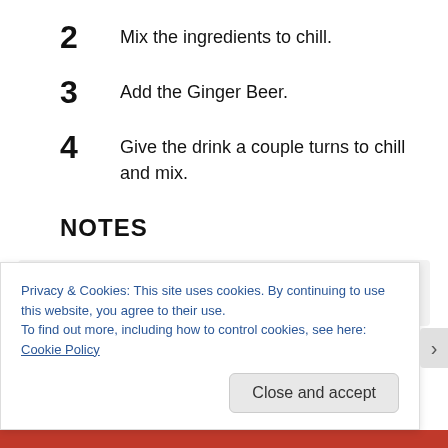2  Mix the ingredients to chill.
3  Add the Ginger Beer.
4  Give the drink a couple turns to chill and mix.
NOTES
Tools Used: Jigger, Bar Spoon
Privacy & Cookies: This site uses cookies. By continuing to use this website, you agree to their use.
To find out more, including how to control cookies, see here: Cookie Policy
Close and accept